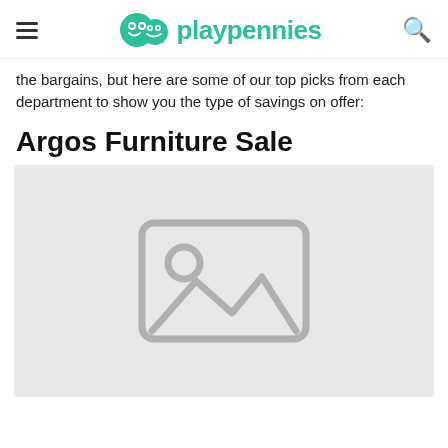playpennies
the bargains, but here are some of our top picks from each department to show you the type of savings on offer:
Argos Furniture Sale
[Figure (photo): Placeholder image with a landscape/photo icon on a light grey background]